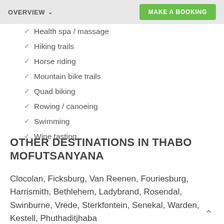OVERVIEW | MAKE A BOOKING
Health spa / massage
Hiking trails
Horse riding
Mountain bike trails
Quad biking
Rowing / canoeing
Swimming
Wine tasting
OTHER DESTINATIONS IN THABO MOFUTSANYANA
Clocolan, Ficksburg, Van Reenen, Fouriesburg, Harrismith, Bethlehem, Ladybrand, Rosendal, Swinburne, Vrede, Sterkfontein, Senekal, Warden, Kestell, Phuthaditjhaba